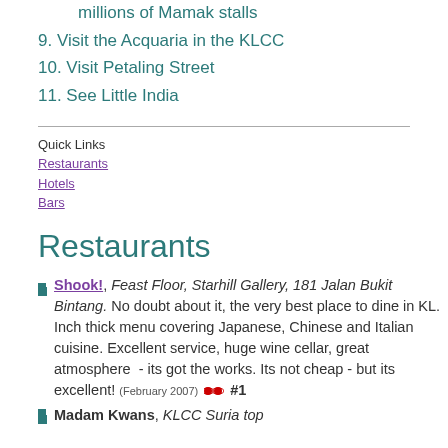millions of Mamak stalls
9. Visit the Acquaria in the KLCC
10. Visit Petaling Street
11. See Little India
Quick Links
Restaurants
Hotels
Bars
Restaurants
Shook!, Feast Floor, Starhill Gallery, 181 Jalan Bukit Bintang. No doubt about it, the very best place to dine in KL. Inch thick menu covering Japanese, Chinese and Italian cuisine. Excellent service, huge wine cellar, great atmosphere - its got the works. Its not cheap - but its excellent! (February 2007) #1
Madam Kwans, KLCC Suria top...